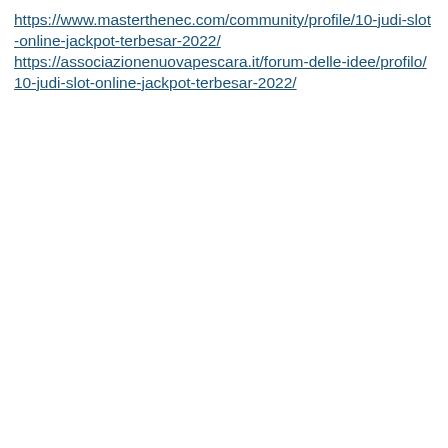https://www.masterthenec.com/community/profile/10-judi-slot-online-jackpot-terbesar-2022/
https://associazionenuovapescara.it/forum-delle-idee/profilo/10-judi-slot-online-jackpot-terbesar-2022/